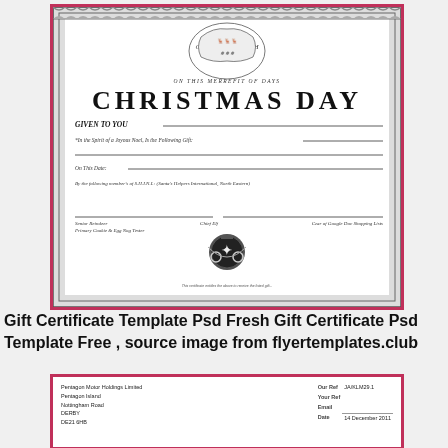[Figure (illustration): Christmas Day gift certificate template with decorative lace border, Santa and reindeer illustration at top, title 'CHRISTMAS DAY', fill-in lines for recipient and gift, signature lines for 'Senior Reindeer, Primary Cookie & Egg Nog Tester' and 'Chief Elf, Czar of Google Doc Shopping Lists', decorative Christmas ornament in center bottom]
Gift Certificate Template Psd Fresh Gift Certificate Psd Template Free , source image from flyertemplates.club
[Figure (screenshot): Bottom portion of a business letter from Pentagon Motor Holdings Limited, Pentagon Island, Nottingham Road, DERBY, DE21 6HB. Shows reference fields: Our Ref: JA/KLM29.1, Your Ref: (blank), Email: (signature line), Date: 14 December 2011]